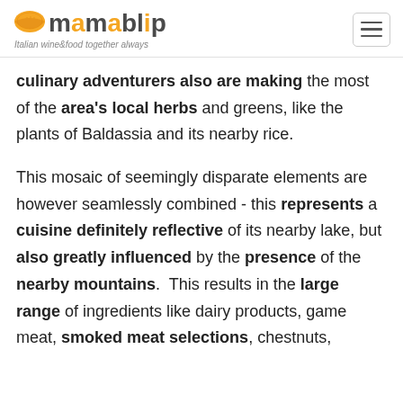mamablip — Italian wine&food together always
culinary adventurers also are making the most of the area's local herbs and greens, like the plants of Baldassia and its nearby rice.
This mosaic of seemingly disparate elements are however seamlessly combined - this represents a cuisine definitely reflective of its nearby lake, but also greatly influenced by the presence of the nearby mountains.  This results in the large range of ingredients like dairy products, game meat, smoked meat selections, chestnuts,